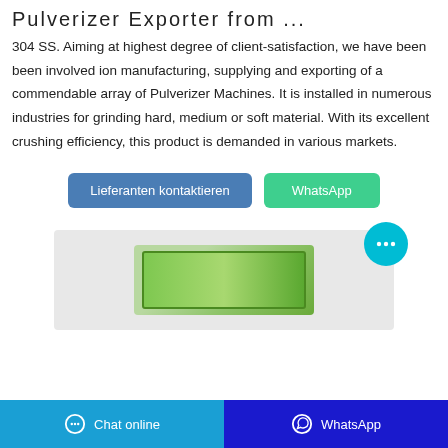Pulverizer Exporter from ...
304 SS. Aiming at highest degree of client-satisfaction, we have been been involved ion manufacturing, supplying and exporting of a commendable array of Pulverizer Machines. It is installed in numerous industries for grinding hard, medium or soft material. With its excellent crushing efficiency, this product is demanded in various markets.
[Figure (other): Two buttons: 'Lieferanten kontaktieren' (blue) and 'WhatsApp' (green)]
[Figure (photo): Product image showing a green packaged item, partially visible, on a light grey background. A cyan chat bubble with ellipsis icon appears in the upper right corner.]
Chat online | WhatsApp